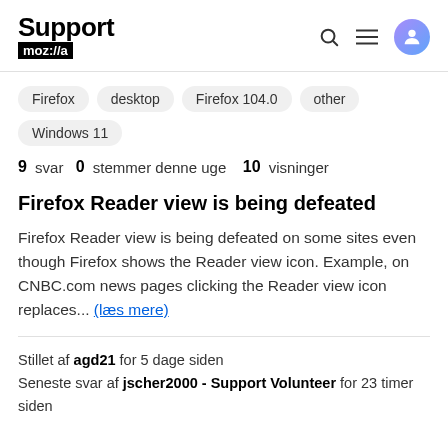Support mozilla // (search, menu, user icons)
Firefox
desktop
Firefox 104.0
other
Windows 11
9 svar  0 stemmer denne uge  10 visninger
Firefox Reader view is being defeated
Firefox Reader view is being defeated on some sites even though Firefox shows the Reader view icon. Example, on CNBC.com news pages clicking the Reader view icon replaces... (læs mere)
Stillet af agd21 for 5 dage siden
Seneste svar af jscher2000 - Support Volunteer for 23 timer siden